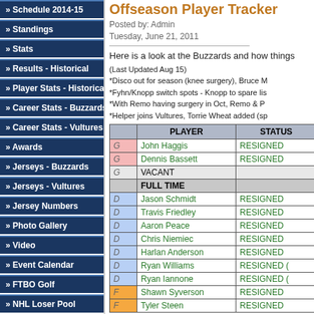» Schedule 2014-15
» Standings
» Stats
» Results - Historical
» Player Stats - Historical
» Career Stats - Buzzards
» Career Stats - Vultures
» Awards
» Jerseys - Buzzards
» Jerseys - Vultures
» Jersey Numbers
» Photo Gallery
» Video
» Event Calendar
» FTBO Golf
» NHL Loser Pool
» News Archives
VISITOR POLL
Offseason Player Tracker
Posted by: Admin
Tuesday, June 21, 2011
Here is a look at the Buzzards and how things
(Last Updated Aug 15)
*Disco out for season (knee surgery), Bruce M
*Fyhn/Knopp switch spots - Knopp to spare lis
*With Remo having surgery in Oct, Remo & P
*Helper joins Vultures, Torrie Wheat added (sp
|  | PLAYER | STATUS |
| --- | --- | --- |
| G | John Haggis | RESIGNED |
| G | Dennis Bassett | RESIGNED |
| G | VACANT |  |
|  | FULL TIME |  |
| D | Jason Schmidt | RESIGNED |
| D | Travis Friedley | RESIGNED |
| D | Aaron Peace | RESIGNED |
| D | Chris Niemiec | RESIGNED |
| D | Harlan Anderson | RESIGNED |
| D | Ryan Williams | RESIGNED ( |
| D | Ryan Iannone | RESIGNED ( |
| F | Shawn Syverson | RESIGNED |
| F | Tyler Steen | RESIGNED |